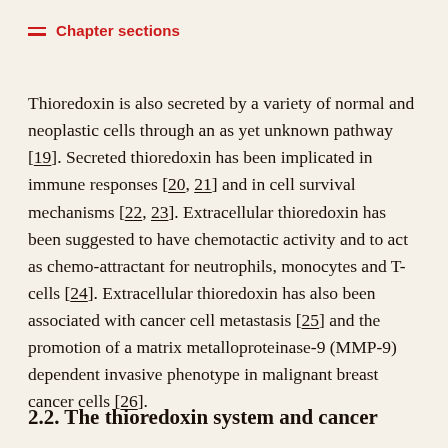Chapter sections
Thioredoxin is also secreted by a variety of normal and neoplastic cells through an as yet unknown pathway [19]. Secreted thioredoxin has been implicated in immune responses [20, 21] and in cell survival mechanisms [22, 23]. Extracellular thioredoxin has been suggested to have chemotactic activity and to act as chemo-attractant for neutrophils, monocytes and T-cells [24]. Extracellular thioredoxin has also been associated with cancer cell metastasis [25] and the promotion of a matrix metalloproteinase-9 (MMP-9) dependent invasive phenotype in malignant breast cancer cells [26].
2.2. The thioredoxin system and cancer